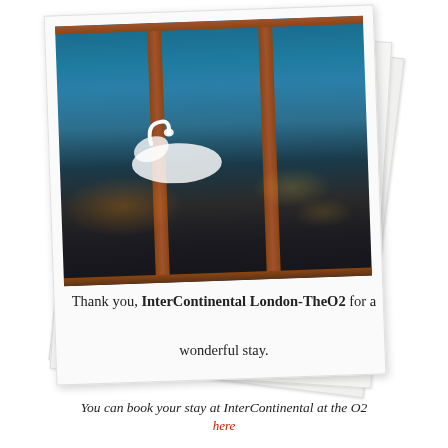[Figure (photo): Stacked polaroid photographs showing a nighttime city view through wooden-framed windows, with reflections of city lights on water and a white swan-like shape visible.]
Thank you, InterContinental London-TheO2 for a wonderful stay.
You can book your stay at InterContinental at the O2 here